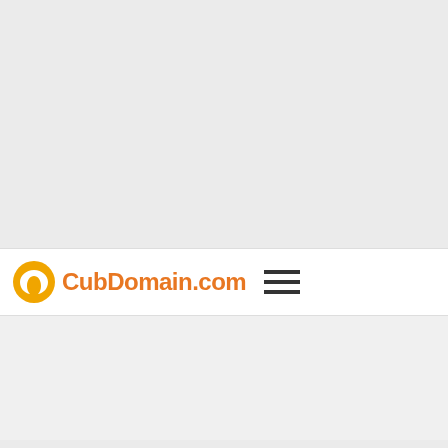[Figure (logo): CubDomain.com logo with orange spiral icon and hamburger menu icon]
[Figure (screenshot): Wayfair advertisement banner: Top Appliances Low Prices with stove image and Shop now button, infolinks label at top]